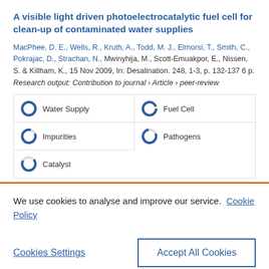A visible light driven photoelectrocatalytic fuel cell for clean-up of contaminated water supplies
MacPhee, D. E., Wells, R., Kruth, A., Todd, M. J., Elmorsi, T., Smith, C., Pokrajac, D., Strachan, N., Mwinyhija, M., Scott-Emuakpor, E., Nissen, S. & Killham, K., 15 Nov 2009, In: Desalination. 248, 1-3, p. 132-137 6 p.
Research output: Contribution to journal › Article › peer-review
Water Supply
Fuel Cell
Impurities
Pathogens
Catalyst
We use cookies to analyse and improve our service. Cookie Policy
Cookies Settings
Accept All Cookies